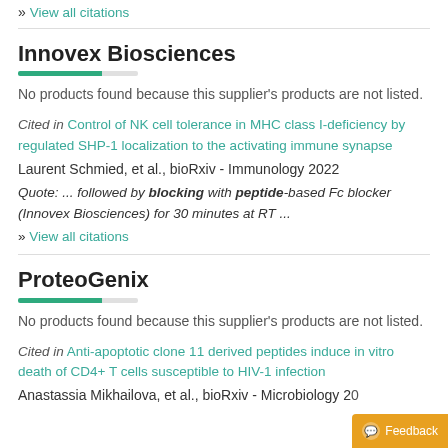» View all citations
Innovex Biosciences
No products found because this supplier's products are not listed.
Cited in Control of NK cell tolerance in MHC class I-deficiency by regulated SHP-1 localization to the activating immune synapse
Laurent Schmied, et al., bioRxiv - Immunology 2022
Quote: ... followed by blocking with peptide-based Fc blocker (Innovex Biosciences) for 30 minutes at RT ...
» View all citations
ProteoGenix
No products found because this supplier's products are not listed.
Cited in Anti-apoptotic clone 11 derived peptides induce in vitro death of CD4+ T cells susceptible to HIV-1 infection
Anastassia Mikhailova, et al., bioRxiv - Microbiology 2022